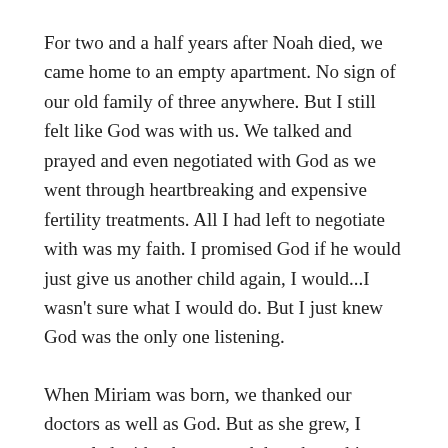For two and a half years after Noah died, we came home to an empty apartment. No sign of our old family of three anywhere. But I still felt like God was with us. We talked and prayed and even negotiated with God as we went through heartbreaking and expensive fertility treatments. All I had left to negotiate with was my faith. I promised God if he would just give us another child again, I would...I wasn't sure what I would do. But I just knew God was the only one listening.
When Miriam was born, we thanked our doctors as well as God. But as she grew, I struggled with what to teach her about this unexplainable concept. Suddenly, my BFF God seemed confusing and